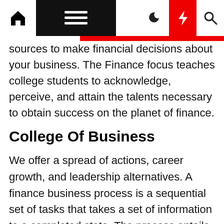Navigation bar with home, menu, moon, bolt, search icons
sources to make financial decisions about your business. The Finance focus teaches college students to acknowledge, perceive, and attain the talents necessary to obtain success on the planet of finance.
College Of Business
We offer a spread of actions, career growth, and leadership alternatives. A finance business process is a sequential set of tasks that takes a set of information to a completed state. The process entails accumulating worker expenses, passing that info to managers and finance groups for review, and getting it permitted till the employees get reimbursed. The function of the course is to show college students the means to plan, carry out, present, after which write up a data-driven analysis